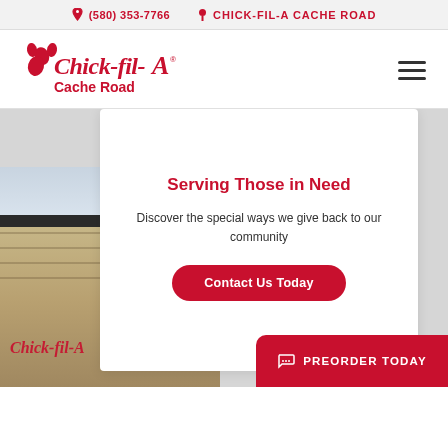(580) 353-7766   CHICK-FIL-A CACHE ROAD
[Figure (logo): Chick-fil-A Cache Road logo in red with script lettering and Cache Road text below]
Serving Those in Need
Discover the special ways we give back to our community
Contact Us Today
[Figure (photo): Chick-fil-A restaurant exterior building with brick facade and Chick-fil-A sign]
PREORDER TODAY